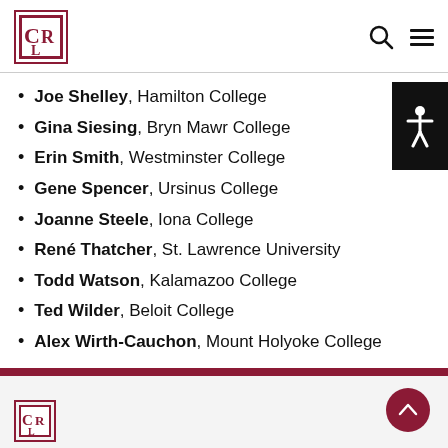CLR logo, search and menu icons
Joe Shelley, Hamilton College
Gina Siesing, Bryn Mawr College
Erin Smith, Westminster College
Gene Spencer, Ursinus College
Joanne Steele, Iona College
René Thatcher, St. Lawrence University
Todd Watson, Kalamazoo College
Ted Wilder, Beloit College
Alex Wirth-Cauchon, Mount Holyoke College
CLR footer logo